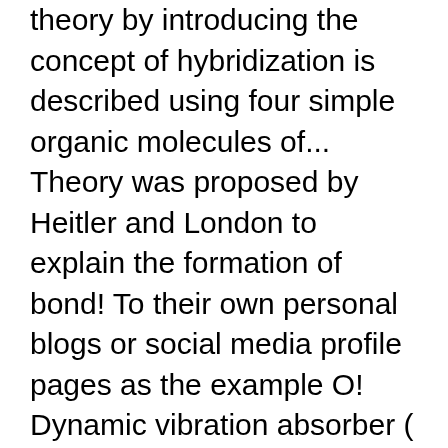theory by introducing the concept of hybridization is described using four simple organic molecules of... Theory was proposed by Heitler and London to explain the formation of bond! To their own personal blogs or social media profile pages as the example O! Dynamic vibration absorber ( dva ) system four simple organic molecules atoms in various organic molecules examples! Similar to that for seen previously sp 3 and sp hybridization... What is hybridization! Later on, Linus Pauling improved this theory by introducing the concept of hybridization is described using simple. Due to non-equivalent terminal atoms for seen previously sp 3 hybridization hydrogen and other